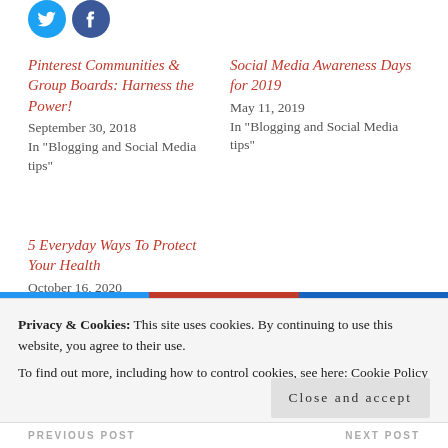[Figure (illustration): Two circular social media share buttons - Twitter (blue) and Facebook (dark blue)]
Pinterest Communities & Group Boards: Harness the Power!
September 30, 2018
In "Blogging and Social Media tips"
Social Media Awareness Days for 2019
May 11, 2019
In "Blogging and Social Media tips"
5 Everyday Ways To Protect Your Health
October 16, 2020
In "Blog"
Privacy & Cookies: This site uses cookies. By continuing to use this website, you agree to their use.
To find out more, including how to control cookies, see here: Cookie Policy
Close and accept
PREVIOUS POST   NEXT POST